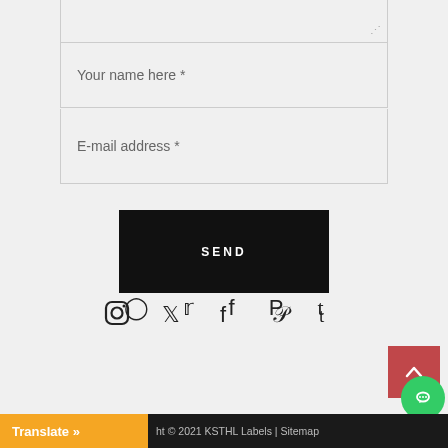Your name here *
E-mail address *
SEND
[Figure (other): Social media icons: Instagram, Twitter, Facebook, Pinterest, Tumblr]
[Figure (other): Back to top button (red/pink square with upward arrow)]
[Figure (other): Chat button (green circle with chat icon)]
Translate »
ht © 2021 KSTHL Labels | Sitemap